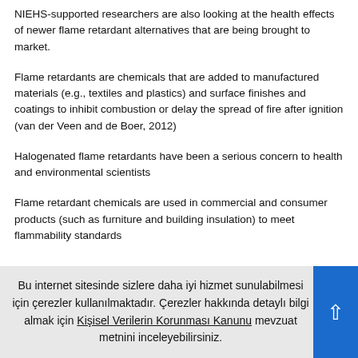NIEHS-supported researchers are also looking at the health effects of newer flame retardant alternatives that are being brought to market.
Flame retardants are chemicals that are added to manufactured materials (e.g., textiles and plastics) and surface finishes and coatings to inhibit combustion or delay the spread of fire after ignition (van der Veen and de Boer, 2012)
Halogenated flame retardants have been a serious concern to health and environmental scientists
Flame retardant chemicals are used in commercial and consumer products (such as furniture and building insulation) to meet flammability standards
Bu internet sitesinde sizlere daha iyi hizmet sunulabilmesi için çerezler kullanılmaktadır. Çerezler hakkında detaylı bilgi almak için Kişisel Verilerin Korunması Kanunu mevzuat metnini inceleyebilirsiniz.